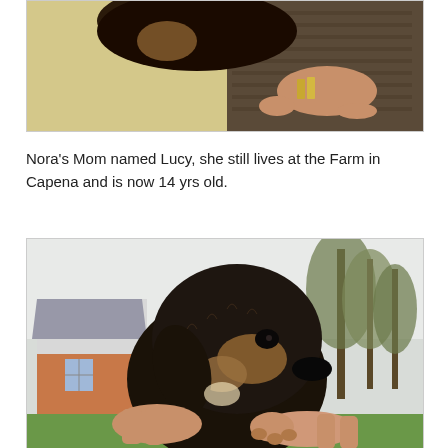[Figure (photo): Partial photo of a dog being held, visible from above showing top of head and human hands with bracelet, warm beige/tan background tones.]
Nora's Mom named Lucy, she still lives at the Farm in Capena and is now 14 yrs old.
[Figure (photo): Close-up photo of a wire-haired dachshund puppy being held up by human hands outdoors, with a house and trees visible in the background. The dog is dark brown/black with tan markings.]